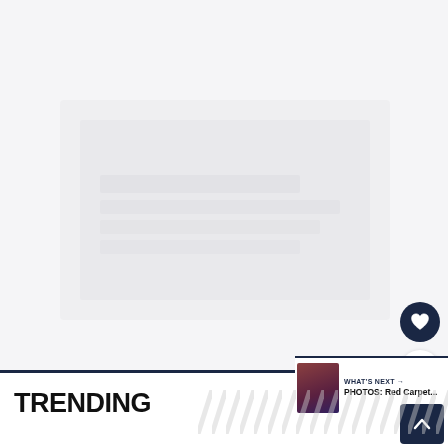[Figure (screenshot): Main content area of a webpage, mostly blank/white with a faint watermarked image in the center. Dark navy heart button and share button float on the right side.]
WHAT'S NEXT → PHOTOS: Red Carpet...
TRENDING